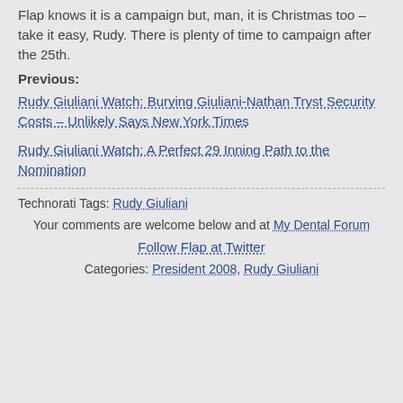Flap knows it is a campaign but, man, it is Christmas too – take it easy, Rudy. There is plenty of time to campaign after the 25th.
Previous:
Rudy Giuliani Watch: Burying Giuliani-Nathan Tryst Security Costs – Unlikely Says New York Times
Rudy Giuliani Watch: A Perfect 29 Inning Path to the Nomination
Technorati Tags: Rudy Giuliani
Your comments are welcome below and at My Dental Forum
Follow Flap at Twitter
Categories: President 2008, Rudy Giuliani